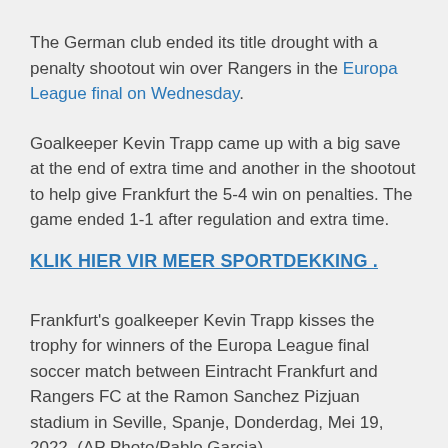The German club ended its title drought with a penalty shootout win over Rangers in the Europa League final on Wednesday.
Goalkeeper Kevin Trapp came up with a big save at the end of extra time and another in the shootout to help give Frankfurt the 5-4 win on penalties. The game ended 1-1 after regulation and extra time.
KLIK HIER VIR MEER SPORTDEKKING .
Frankfurt's goalkeeper Kevin Trapp kisses the trophy for winners of the Europa League final soccer match between Eintracht Frankfurt and Rangers FC at the Ramon Sanchez Pizjuan stadium in Seville, Spanje, Donderdag, Mei 19, 2022. (AP Photo/Pablo Garcia)
Colombia striker Rafael Borré, who scored a